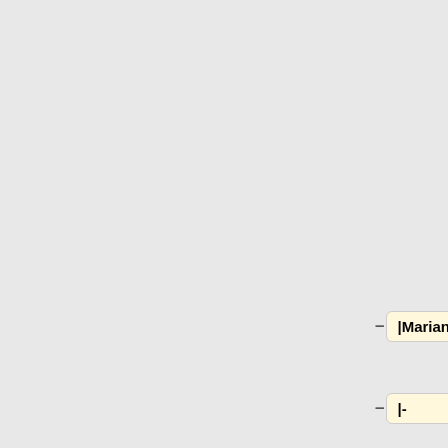way. [[Dealing with Conflicts in Activist Groups and Teams|Learn More]]
– |Marianne Koch +
– |- +
– |November 18 +
– |9am EST / 2pm UTC +
– |<p style="font-size:16px">"'[[Embodied Connection]]"'</p> +
– |"What is the [[Community Health Village +